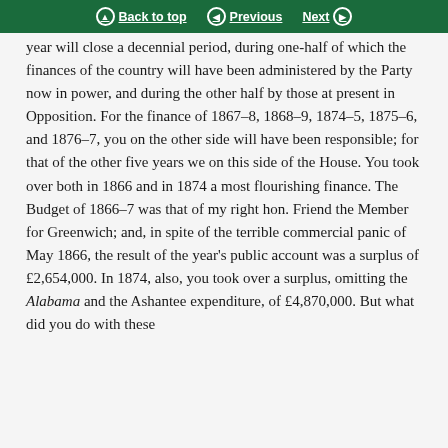Back to top | Previous | Next
year will close a decennial period, during one-half of which the finances of the country will have been administered by the Party now in power, and during the other half by those at present in Opposition. For the finance of 1867–8, 1868–9, 1874–5, 1875–6, and 1876–7, you on the other side will have been responsible; for that of the other five years we on this side of the House. You took over both in 1866 and in 1874 a most flourishing finance. The Budget of 1866–7 was that of my right hon. Friend the Member for Greenwich; and, in spite of the terrible commercial panic of May 1866, the result of the year's public account was a surplus of £2,654,000. In 1874, also, you took over a surplus, omitting the Alabama and the Ashantee expenditure, of £4,870,000. But what did you do with these